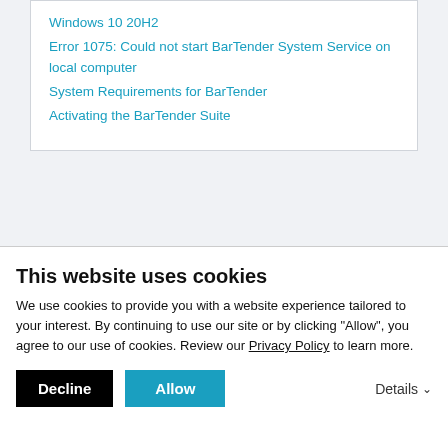Windows 10 20H2
Error 1075: Could not start BarTender System Service on local computer
System Requirements for BarTender
Activating the BarTender Suite
BarTender is label design software, label printing software, barcode
This website uses cookies
We use cookies to provide you with a website experience tailored to your interest. By continuing to use our site or by clicking "Allow", you agree to our use of cookies. Review our Privacy Policy to learn more.
Decline | Allow | Details